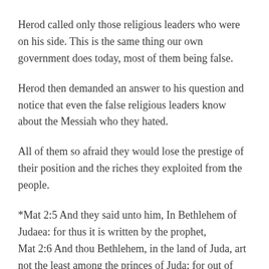Herod called only those religious leaders who were on his side. This is the same thing our own government does today, most of them being false.
Herod then demanded an answer to his question and notice that even the false religious leaders know about the Messiah who they hated.
All of them so afraid they would lose the prestige of their position and the riches they exploited from the people.
*Mat 2:5 And they said unto him, In Bethlehem of Judaea: for thus it is written by the prophet, Mat 2:6 And thou Bethlehem, in the land of Juda, art not the least among the princes of Juda: for out of thee shall